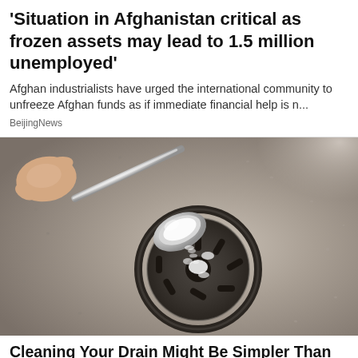'Situation in Afghanistan critical as frozen assets may lead to 1.5 million unemployed'
Afghan industrialists have urged the international community to unfreeze Afghan funds as if immediate financial help is n...
BeijingNews
[Figure (photo): A hand holding a silver spoon pouring white powder (baking soda) into a stainless steel kitchen sink drain, with water droplets visible on the metal surface.]
Cleaning Your Drain Might Be Simpler Than Ever.